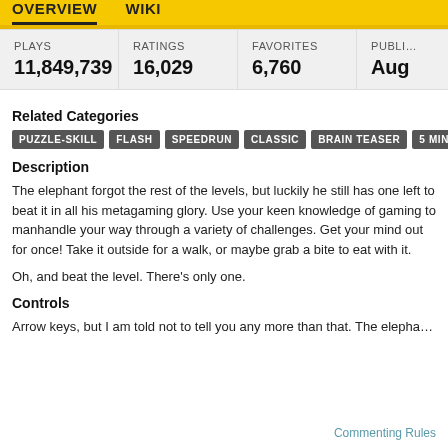OVERVIEW   WIKI
| PLAYS | RATINGS | FAVORITES | PUBLI… |
| --- | --- | --- | --- |
| 11,849,739 | 16,029 | 6,760 | Aug |
Related Categories
PUZZLE-SKILL
FLASH
SPEEDRUN
CLASSIC
BRAIN TEASER
5 MINUTE
Description
The elephant forgot the rest of the levels, but luckily he still has one left to beat it in all his metagaming glory. Use your keen knowledge of gaming to manhandle your way through a variety of challenges. Get your mind out for once! Take it outside for a walk, or maybe grab a bite to eat with it.
Oh, and beat the level. There's only one.
Controls
Arrow keys, but I am told not to tell you any more than that. The elepha…
Commenting Rules